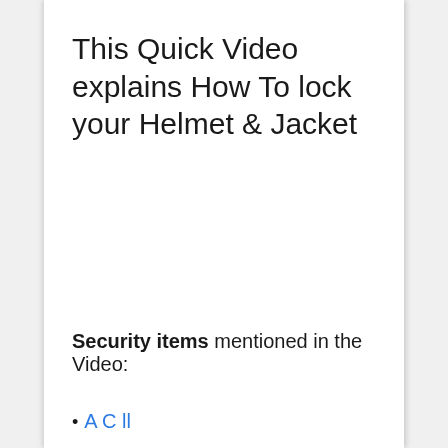This Quick Video explains How To lock your Helmet & Jacket
Security items mentioned in the Video:
A C ll…